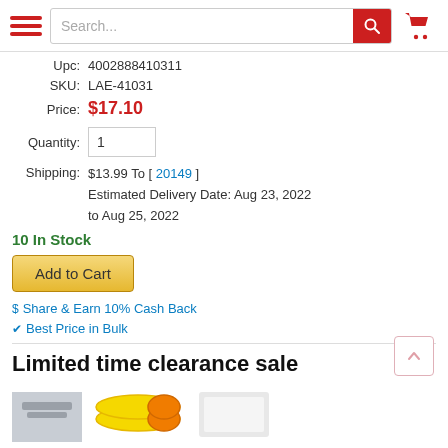Search... [search bar] [hamburger] [cart]
Upc: 4002888410311
SKU: LAE-41031
Price: $17.10
Quantity: 1
Shipping: $13.99 To [ 20149 ]
Estimated Delivery Date: Aug 23, 2022
to Aug 25, 2022
10 In Stock
Add to Cart
$ Share & Earn 10% Cash Back
Best Price in Bulk
Limited time clearance sale
[Figure (photo): Product thumbnails for clearance sale items including rubber wristbands and other products]